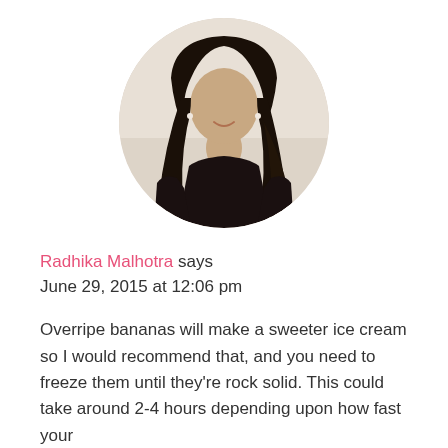[Figure (photo): Circular profile photo of a young woman with long dark hair wearing a black lace top, smiling, against a light beige background.]
Radhika Malhotra says
June 29, 2015 at 12:06 pm
Overripe bananas will make a sweeter ice cream so I would recommend that, and you need to freeze them until they're rock solid. This could take around 2-4 hours depending upon how fast your